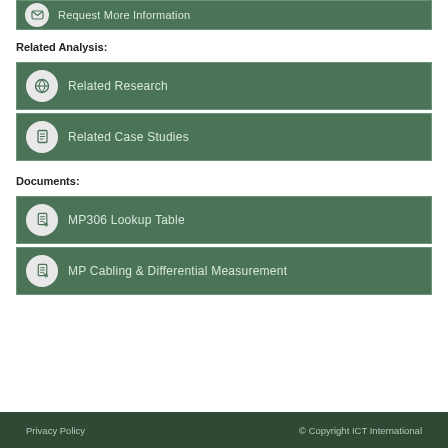Request More Information
Related Analysis:
Related Research
Related Case Studies
Documents:
MP306 Lookup Table
MP Cabling & Differential Measurement
Privacy Policy   © Copyright ICT International